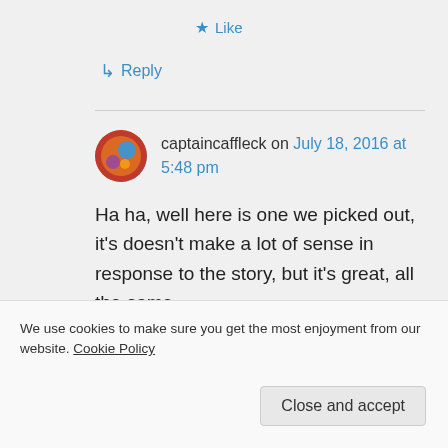★ Like
↳ Reply
captaincaffleck on July 18, 2016 at 5:48 pm
Ha ha, well here is one we picked out, it's doesn't make a lot of sense in response to the story, but it's great, all the same.
We use cookies to make sure you get the most enjoyment from our website. Cookie Policy
Close and accept